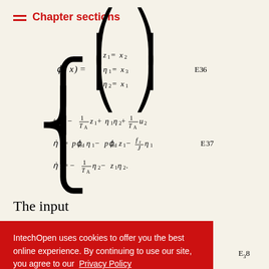Chapter sections
The input
IntechOpen uses cookies to offer you the best online experience. By continuing to use our site, you agree to our Privacy Policy
Got it!
This section presents the evaluation of the